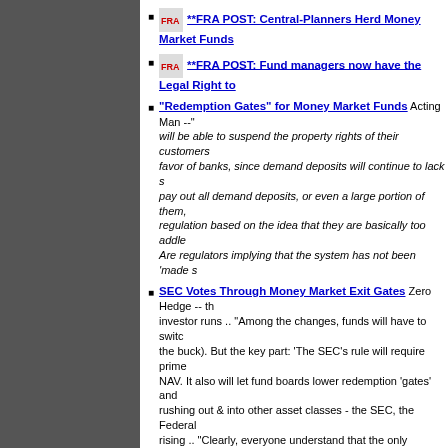**FRA POST: Central-Planners Herd Money Market Funds
**FRA POST: Fund managers now have the Legal Right to
"Redemption Gates" for Money Market Funds Acting Man -- will be able to suspend the property rights of their customers favor of banks, since demand deposits will continue to lack s pay out all demand deposits, or even a large portion of them, regulation based on the idea that they are basically too addle Are regulators implying that the system has not been 'made s
SEC Votes Through Money Market Exit Gates Zero Hedge -- th investor runs .. "Among the changes, funds will have to switc the buck). But the key part: 'The SEC's rule will require prime NAV. It also will let fund boards lower redemption 'gates' and rushing out & into other asset classes - the SEC, the Federal rising .. "Clearly, everyone understand that the only purpose assets, money markets can serve as a convenient source of ' whether the herd will agree to this latest massive behavioral at a higher P/E multiple than during the last market peak."
ALERT: Pull Your Money From Money Markets Now! Economi
U.S. SEC poised to adopt reforms for money market funds Re
Fund managers on alert over money market shake-up FT -The especially institutional money market funds - this means mor